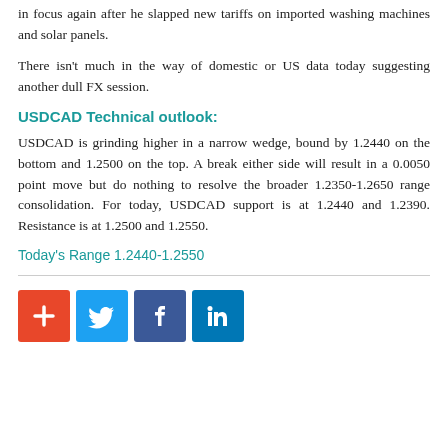in focus again after he slapped new tariffs on imported washing machines and solar panels.
There isn't much in the way of domestic or US data today suggesting another dull FX session.
USDCAD Technical outlook:
USDCAD is grinding higher in a narrow wedge, bound by 1.2440 on the bottom and 1.2500 on the top. A break either side will result in a 0.0050 point move but do nothing to resolve the broader 1.2350-1.2650 range consolidation. For today, USDCAD support is at 1.2440 and 1.2390. Resistance is at 1.2500 and 1.2550.
Today's Range 1.2440-1.2550
[Figure (infographic): Social media sharing buttons: plus/add, Twitter, Facebook, LinkedIn]